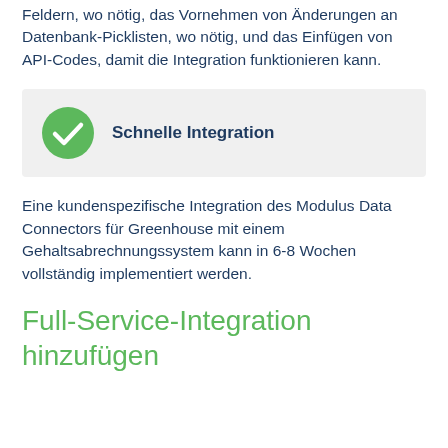Feldern, wo nötig, das Vornehmen von Änderungen an Datenbank-Picklisten, wo nötig, und das Einfügen von API-Codes, damit die Integration funktionieren kann.
[Figure (infographic): Green circle with white checkmark icon next to bold text 'Schnelle Integration' on a light grey background box]
Eine kundenspezifische Integration des Modulus Data Connectors für Greenhouse mit einem Gehaltsabrechnungssystem kann in 6-8 Wochen vollständig implementiert werden.
Full-Service-Integration hinzufügen